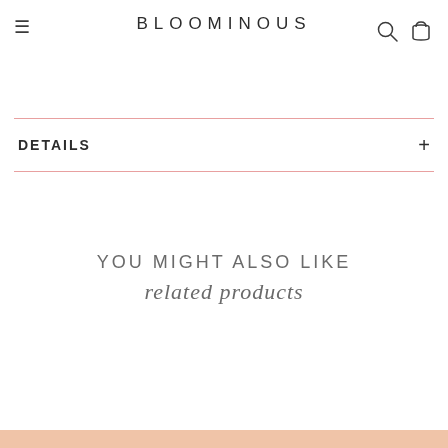BLOOMINOUS
DETAILS +
YOU MIGHT ALSO LIKE
related products